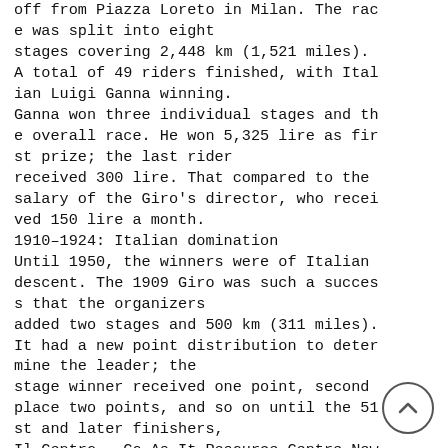off from Piazza Loreto in Milan. The race was split into eight stages covering 2,448 km (1,521 miles). A total of 49 riders finished, with Italian Luigi Ganna winning.
Ganna won three individual stages and the overall race. He won 5,325 lire as first prize; the last rider received 300 lire. That compared to the salary of the Giro's director, who received 150 lire a month.
1910–1924: Italian domination
Until 1950, the winners were of Italian descent. The 1909 Giro was such a success that the organizers added two stages and 500 km (311 miles). It had a new point distribution to determine the leader; the stage winner received one point, second place two points, and so on until the 51st and later finishers,
Il Centro – Co.As.It Resource Centre Newsletter Volume 22, Issue 2
who received 51. The first non-Italian stage winner, Jean-Baptiste Dortignacq, c